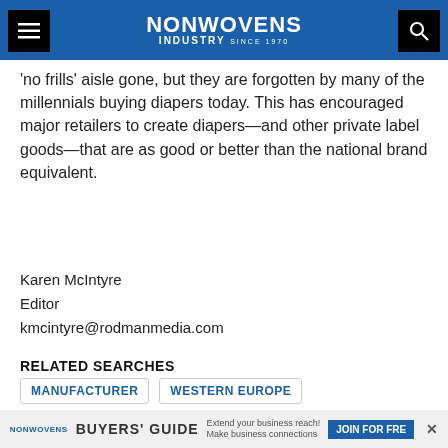NONWOVENS INDUSTRY
'no frills' aisle gone, but they are forgotten by many of the millennials buying diapers today. This has encouraged major retailers to create diapers—and other private label goods—that are as good or better than the national brand equivalent.
Karen McIntyre
Editor
kmcintyre@rodmanmedia.com
RELATED SEARCHES
MANUFACTURER
WESTERN EUROPE
PRIVATE LABEL
KIMBERLY-CLARK
NONWOVENS BUYERS' GUIDE — Extend your business reach! Make business connections — JOIN FOR FREE